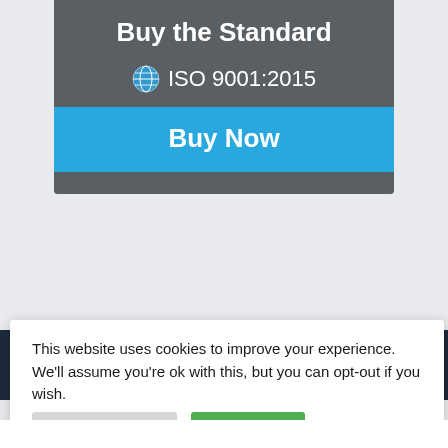Buy the Standard
🌐 ISO 9001:2015
Buy Now
This website uses cookies to improve your experience. We'll assume you're ok with this, but you can opt-out if you wish.
Cookie Settings
Accept All
Read More